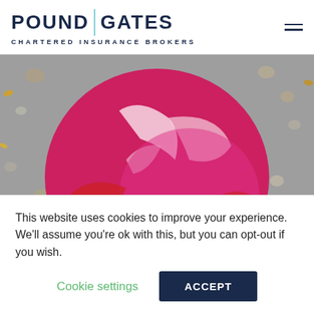POUND GATES CHARTERED INSURANCE BROKERS
[Figure (photo): Close-up photo of a brightly coloured red and pink painted/abstract helmet or ball on a grey surface with scattered leaves and pebbles]
Risk Management
We offer a range of risk management support to our
This website uses cookies to improve your experience. We'll assume you're ok with this, but you can opt-out if you wish.
Cookie settings
ACCEPT